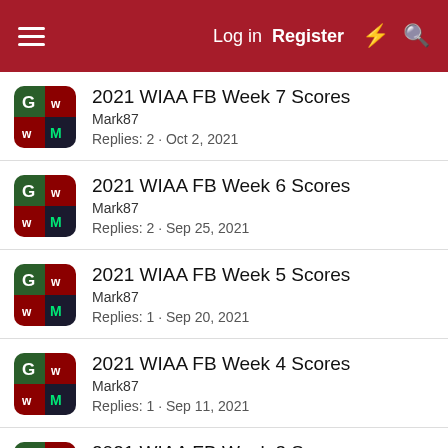Log in  Register
2021 WIAA FB Week 7 Scores
Mark87
Replies: 2 · Oct 2, 2021
2021 WIAA FB Week 6 Scores
Mark87
Replies: 2 · Sep 25, 2021
2021 WIAA FB Week 5 Scores
Mark87
Replies: 1 · Sep 20, 2021
2021 WIAA FB Week 4 Scores
Mark87
Replies: 1 · Sep 11, 2021
2021 WIAA FB Week 3 Scores
Mark87